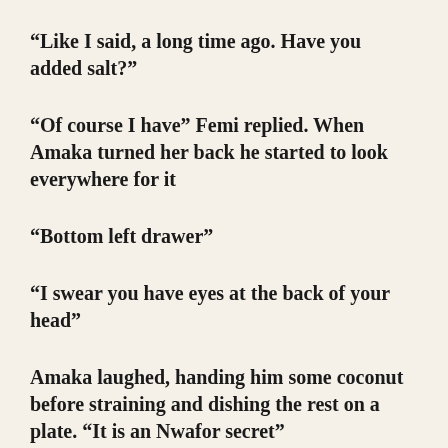“Like I said, a long time ago. Have you added salt?”
“Of course I have” Femi replied. When Amaka turned her back he started to look everywhere for it
“Bottom left drawer”
“I swear you have eyes at the back of your head”
Amaka laughed, handing him some coconut before straining and dishing the rest on a plate. “It is an Nwafor secret”